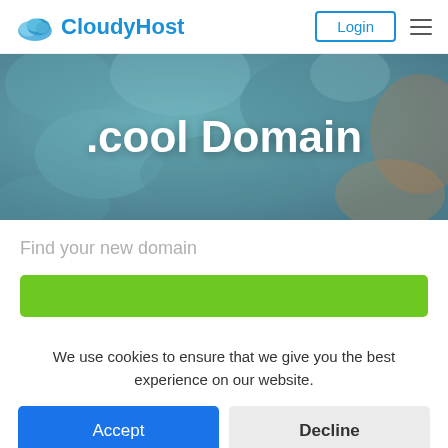[Figure (logo): CloudyHost logo with cloud icon and text]
[Figure (photo): Hero banner with blurred teal/blue water background and white bold text '.cool Domain']
Find your new domain
We use cookies to ensure that we give you the best experience on our website.
Accept
Decline